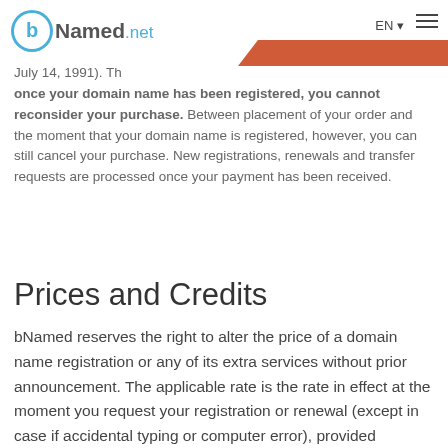bNamed.net — EN navigation header
completed purchase. Because your domain name is "made to", you have no right to the legal revocation period of 7 days specified in Article 80, §4.2° of the Wet betreffende de handelspraktijken, dated July 14, 1991). This means that once your domain name has been registered, you cannot reconsider your purchase. Between placement of your order and the moment that your domain name is registered, however, you can still cancel your purchase. New registrations, renewals and transfer requests are processed once your payment has been received.
Prices and Credits
bNamed reserves the right to alter the price of a domain name registration or any of its extra services without prior announcement. The applicable rate is the rate in effect at the moment you request your registration or renewal (except in case if accidental typing or computer error), provided bNamed receives your payment before the due date on the order form.